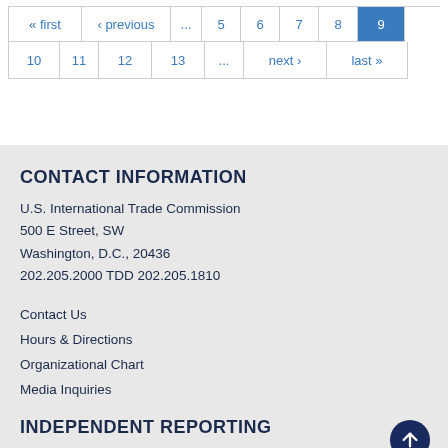« first ‹ previous ... 5 6 7 8 9 (current) 10 11 12 13 ... next › last »
CONTACT INFORMATION
U.S. International Trade Commission
500 E Street, SW
Washington, D.C., 20436
202.205.2000 TDD 202.205.1810
Contact Us
Hours & Directions
Organizational Chart
Media Inquiries
INDEPENDENT REPORTING